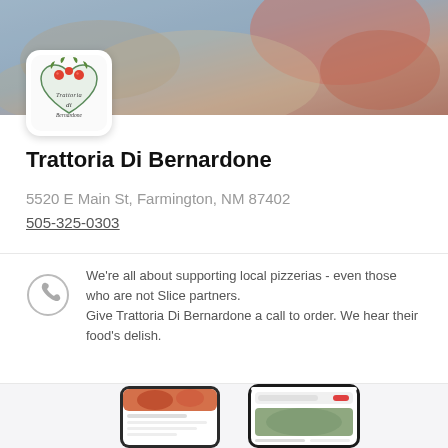[Figure (photo): Hero background food photo showing Italian food items]
[Figure (logo): Trattoria Di Bernardone restaurant logo - heart shaped with tomatoes and greenery on white background]
Trattoria Di Bernardone
5520 E Main St, Farmington, NM 87402
505-325-0303
We're all about supporting local pizzerias - even those who are not Slice partners. Give Trattoria Di Bernardone a call to order. We hear their food's delish.
[Figure (screenshot): Two smartphone screens showing the Slice pizza ordering app interface with food photos and restaurant listings]